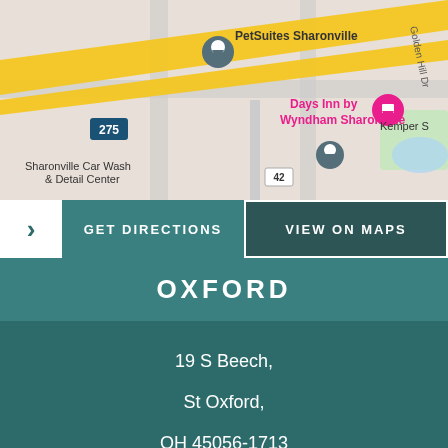[Figure (map): Google Maps screenshot showing area around Days Inn by Wyndham Sharonville, with PetSuites Sharonville, Sharonville Car Wash & Detail Center, Shadow Hill Apartments, Kemper S, highway 275 and route 42 visible, yellow highlighted roads.]
GET DIRECTIONS
VIEW ON MAPS
OXFORD
19 S Beech,
St Oxford,
OH 45056-1713
513-769-0840
By Appointment Only